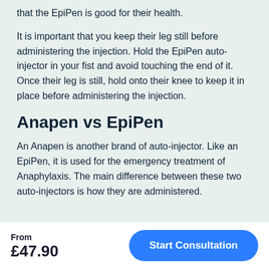that the EpiPen is good for their health.
It is important that you keep their leg still before administering the injection. Hold the EpiPen auto-injector in your fist and avoid touching the end of it. Once their leg is still, hold onto their knee to keep it in place before administering the injection.
Anapen vs EpiPen
An Anapen is another brand of auto-injector. Like an EpiPen, it is used for the emergency treatment of Anaphylaxis. The main difference between these two auto-injectors is how they are administered.
From
£47.90
Start Consultation